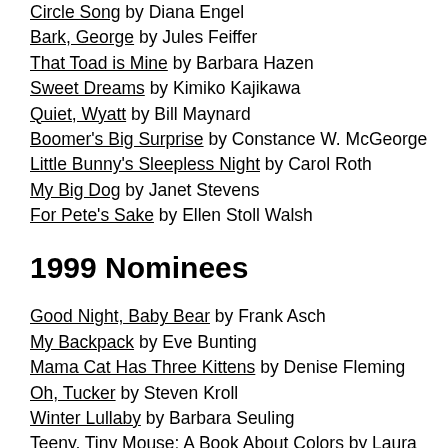Circle Song by Diana Engel
Bark, George by Jules Feiffer
That Toad is Mine by Barbara Hazen
Sweet Dreams by Kimiko Kajikawa
Quiet, Wyatt by Bill Maynard
Boomer's Big Surprise by Constance W. McGeorge
Little Bunny's Sleepless Night by Carol Roth
My Big Dog by Janet Stevens
For Pete's Sake by Ellen Stoll Walsh
1999 Nominees
Good Night, Baby Bear by Frank Asch
My Backpack by Eve Bunting
Mama Cat Has Three Kittens by Denise Fleming
Oh, Tucker by Steven Kroll
Winter Lullaby by Barbara Seuling
Teeny, Tiny Mouse: A Book About Colors by Laura Leuck
I Can't Take You Anywhere by Phyllis Reynolds Naylor